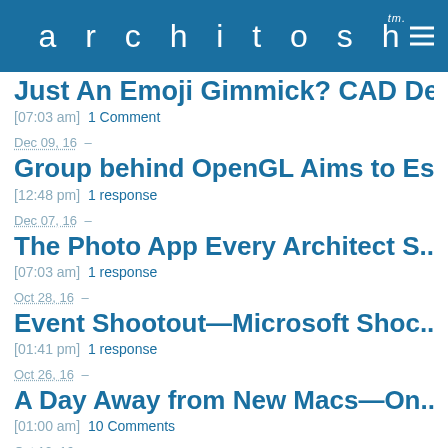architosh™ ≡
Just An Emoji Gimmick? CAD De...
[07:03 am] 1 Comment
Dec 09, 16 –
Group behind OpenGL Aims to Es...
[12:48 pm] 1 response
Dec 07, 16 –
The Photo App Every Architect S...
[07:03 am] 1 response
Oct 28, 16 –
Event Shootout—Microsoft Shoc...
[01:41 pm] 1 response
Oct 26, 16 –
A Day Away from New Macs—On...
[01:00 am] 10 Comments
Oct 12, 16 –
Grocbert Announces ARES Touc...